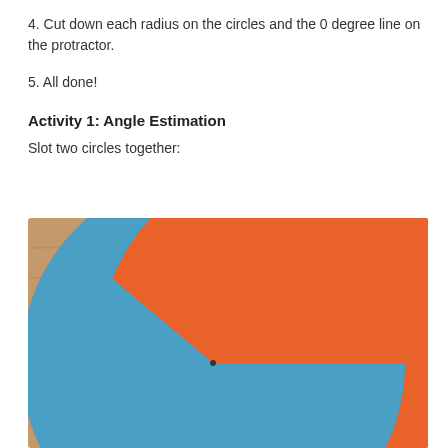4. Cut down each radius on the circles and the 0 degree line on the protractor.
5. All done!
Activity 1: Angle Estimation
Slot two circles together:
[Figure (photo): A photograph of two paper circles slotted together on a wooden surface. One circle is blue and occupies roughly the left three-quarters, and the other is orange and visible on the right quarter, showing how they interlock via a cut radius to display angles.]